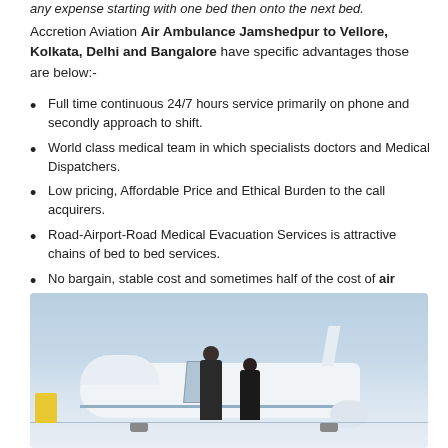any expense starting with one bed then onto the next bed.
Accretion Aviation Air Ambulance Jamshedpur to Vellore, Kolkata, Delhi and Bangalore have specific advantages those are below:-
Full time continuous 24/7 hours service primarily on phone and secondly approach to shift.
World class medical team in which specialists doctors and Medical Dispatchers.
Low pricing, Affordable Price and Ethical Burden to the call acquirers.
Road-Airport-Road Medical Evacuation Services is attractive chains of bed to bed services.
No bargain, stable cost and sometimes half of the cost of air ambulance services.
[Figure (photo): Photo of an air ambulance plane on the tarmac with two people standing near the open door of the aircraft.]